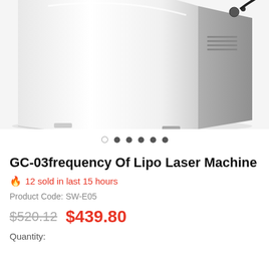[Figure (photo): Product photo of GC-03 Lipo Laser Machine, a white curved medical/beauty device shown at an angle against a white background]
GC-03frequency Of Lipo Laser Machine
🔥 12 sold in last 15 hours
Product Code: SW-E05
$520.12  $439.80
Quantity: